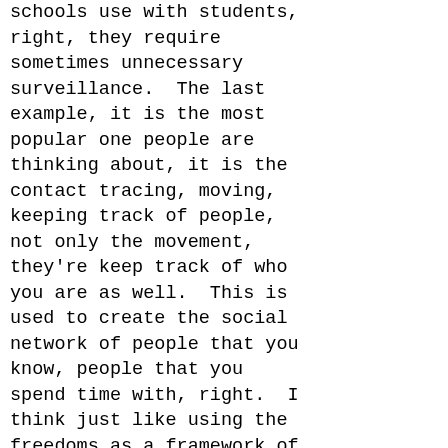schools use with students, right, they require sometimes unnecessary surveillance.  The last example, it is the most popular one people are thinking about, it is the contact tracing, moving, keeping track of people, not only the movement, they're keep track of who you are as well.  This is used to create the social network of people that you know, people that you spend time with, right.  I think just like using the freedoms as a framework of movement of goods, capital, services, people, we can see how our life in the market actually changed and this change oftentimes comes with increasing amount of the personal data that's